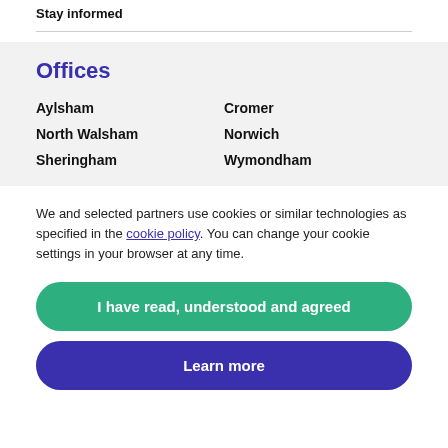Stay informed
Offices
Aylsham
Cromer
North Walsham
Norwich
Sheringham
Wymondham
We and selected partners use cookies or similar technologies as specified in the cookie policy. You can change your cookie settings in your browser at any time.
I have read, understood and agreed
Learn more